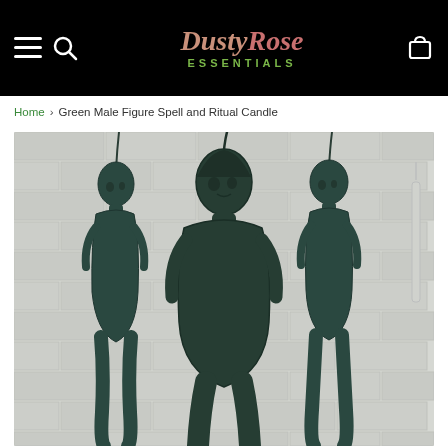DustyRose ESSENTIALS — navigation header with hamburger menu, search icon, logo, and cart icon
Home > Green Male Figure Spell and Ritual Candle
[Figure (photo): Three dark green male figure ritual candles standing against a white brick wall background. The candles are shaped like stylized human male figures with wicks extending from the tops of their heads. The center figure is larger and more prominent, flanked by two smaller figures on each side.]